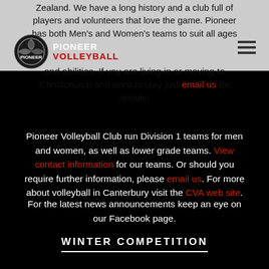Pioneer Volleyball
Zealand. We have a long history and a club full of players and volunteers that love the game. Pioneer has both Men's and Women's teams to suit all ages and abilities. If you are living in or moving to Christchurch and want to play just email us for details!
Pioneer Volleyball Club run Division 1 teams for men and women, as well as lower grade teams. View contact information for our teams. Or should you require further information, please email us. For more about volleyball in Canterbury visit the CVA web site.
For the latest news announcements keep an eye on our Facebook page.
WINTER COMPETITION